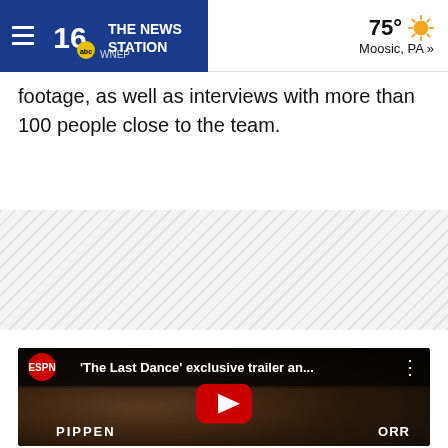WNEP 16 The News Station | 75° Moosic, PA »
footage, as well as interviews with more than 100 people close to the team.
[Figure (other): Advertisement placeholder banner with diagonal hatching pattern]
[Figure (screenshot): Embedded YouTube video thumbnail showing ESPN logo and title 'The Last Dance' exclusive trailer an... with basketball players wearing Pippen jersey in background and YouTube play button overlay]